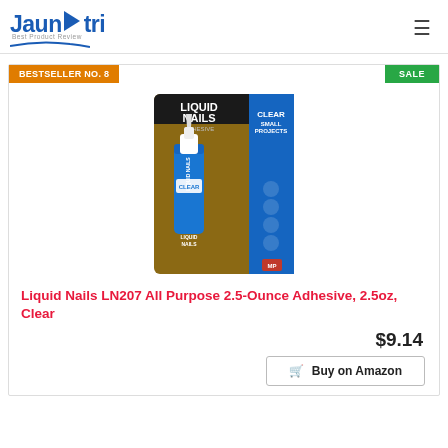Jaunatri — Best Product Review
[Figure (photo): Liquid Nails LN207 All Purpose adhesive product in packaging — a tube of clear adhesive on a branded card backing showing icons and usage info]
Liquid Nails LN207 All Purpose 2.5-Ounce Adhesive, 2.5oz, Clear
$9.14
Buy on Amazon